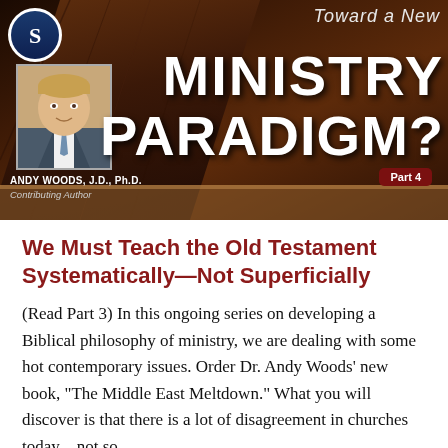[Figure (illustration): Banner image for article 'Toward a New Ministry Paradigm? Part 4' featuring Andy Woods J.D. Ph.D. with a headshot photo overlaid on a dark wooden Bible background. Large white bold text reads MINISTRY PARADIGM? with 'Toward a New' above. A red badge reads 'Part 4'. Author credit: Andy Woods, J.D., Ph.D., Contributing Author.]
We Must Teach the Old Testament Systematically—Not Superficially
(Read Part 3) In this ongoing series on developing a Biblical philosophy of ministry, we are dealing with some hot contemporary issues. Order Dr. Andy Woods' new book, "The Middle East Meltdown." What you will discover is that there is a lot of disagreement in churches today—not so